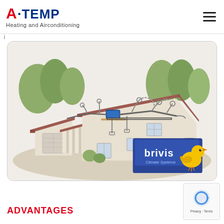A·TEMP Heating and Airconditioning
[Figure (illustration): Isometric cutaway illustration of a residential home showing a ducted air conditioning / heating system with flexible ducts running through the ceiling and roof space, a central air handler unit, and vents in each room. A Brivis Climate Systems logo with a yellow duckling mascot appears in the lower right of the image.]
ADVANTAGES